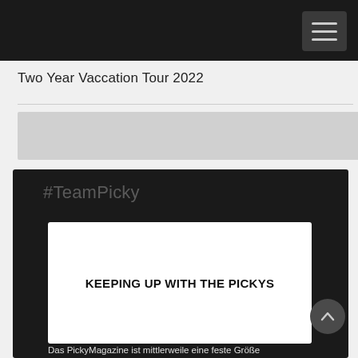Two Year Vaccation Tour 2022
#TeamPicky
[Figure (illustration): White rectangle with bold black uppercase text 'KEEPING UP WITH THE PICKYS' centered on it, embedded within a dark card]
Das PickyMagazine ist mittlerweile eine feste Größe